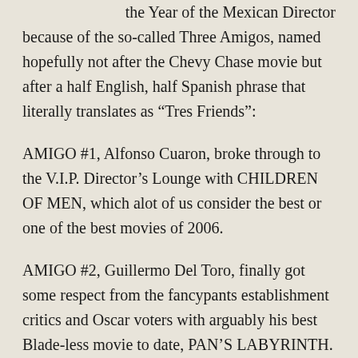the Year of the Mexican Director because of the so-called Three Amigos, named hopefully not after the Chevy Chase movie but after a half English, half Spanish phrase that literally translates as “Tres Friends”:
AMIGO #1, Alfonso Cuaron, broke through to the V.I.P. Director’s Lounge with CHILDREN OF MEN, which alot of us consider the best or one of the best movies of 2006.
AMIGO #2, Guillermo Del Toro, finally got some respect from the fancypants establishment critics and Oscar voters with arguably his best Blade-less movie to date, PAN’S LABYRINTH.
But it was #3, Alejandro González Iñárritu, who got